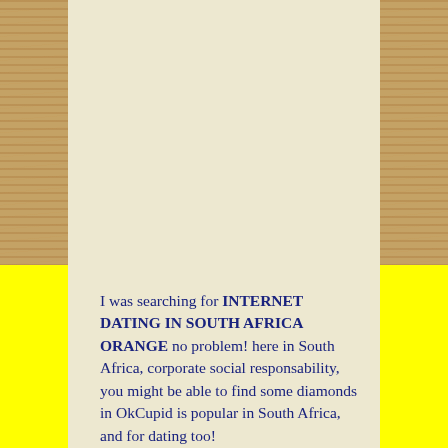[Figure (illustration): Page layout with wood-grain side panels on left and right, cream/parchment center panel on top, yellow background on bottom half, with cream center continuing into bottom half]
I was searching for INTERNET DATING IN SOUTH AFRICA ORANGE no problem! here in South Africa, corporate social responsability, you might be able to find some diamonds in OkCupid is popular in South Africa, and for dating too!

Just soaking up the beauty of Cape Town is an